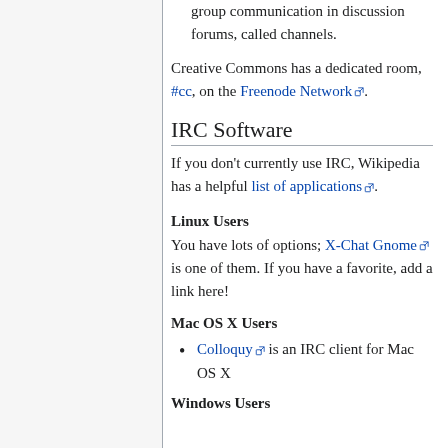group communication in discussion forums, called channels.
Creative Commons has a dedicated room, #cc, on the Freenode Network.
IRC Software
If you don't currently use IRC, Wikipedia has a helpful list of applications.
Linux Users
You have lots of options; X-Chat Gnome is one of them. If you have a favorite, add a link here!
Mac OS X Users
Colloquy is an IRC client for Mac OS X
Windows Users